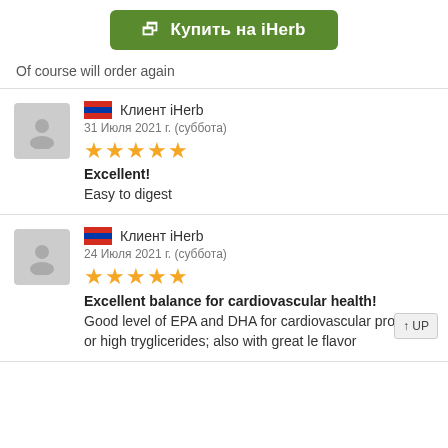[Figure (other): Green button labeled 'Купить на iHerb' with external link icon]
Of course will order again
Клиент iHerb
31 Июля 2021 г. (суббота)
★★★★★
Excellent!
Easy to digest
Клиент iHerb
24 Июля 2021 г. (суббота)
★★★★★
Excellent balance for cardiovascular health!
Good level of EPA and DHA for cardiovascular problems or high tryglicerides; also with great le flavor